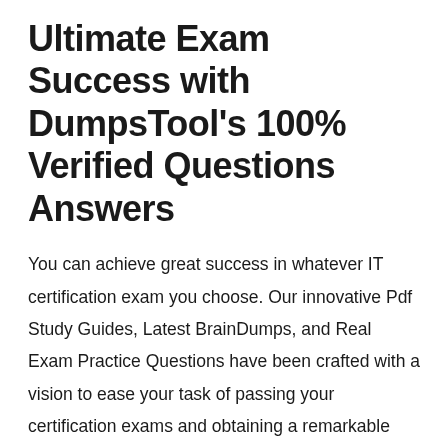Ultimate Exam Success with DumpsTool's 100% Verified Questions Answers
You can achieve great success in whatever IT certification exam you choose. Our innovative Pdf Study Guides, Latest BrainDumps, and Real Exam Practice Questions have been crafted with a vision to ease your task of passing your certification exams and obtaining a remarkable score. Target any IT certification that can give you a career boost and DumpsTool's real exam products will help you grab that certification. Being aware of the current exam pattern, policy and syllabus is the prime requirement for taking an IT certification exam. We keep you updated without any delay if the exam vendor introduces any change in the existing layout of your targeted exam. Updates are free and sent to clients for